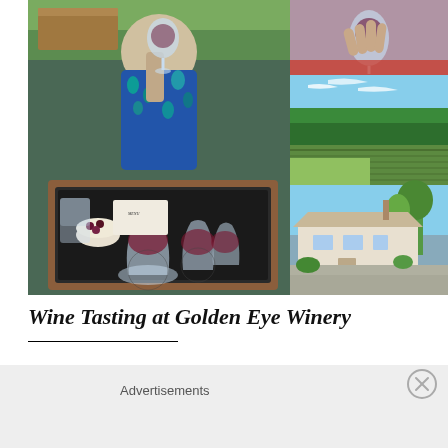[Figure (photo): Photo collage of wine tasting at Golden Eye Winery. Large left image shows a man in a blue floral shirt holding up a wine glass, with a wooden tray of wine glasses and a small bowl of berries on a dark mat. Top right shows a close-up of hands holding a wine glass. Middle right shows a scenic vineyard with green hills and blue sky. Bottom right shows a white building with a paved driveway and trees.]
Wine Tasting at Golden Eye Winery
Advertisements